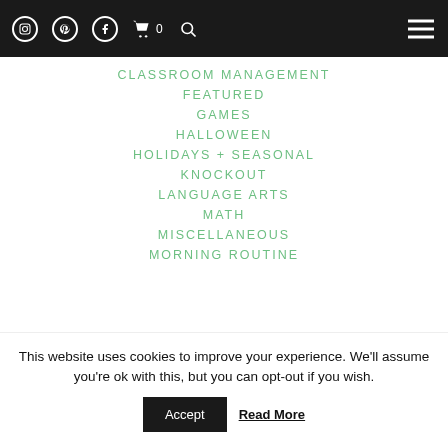Navigation header with social icons and hamburger menu
CLASSROOM MANAGEMENT
FEATURED
GAMES
HALLOWEEN
HOLIDAYS + SEASONAL
KNOCKOUT
LANGUAGE ARTS
MATH
MISCELLANEOUS
MORNING ROUTINE
This website uses cookies to improve your experience. We'll assume you're ok with this, but you can opt-out if you wish. Accept Read More